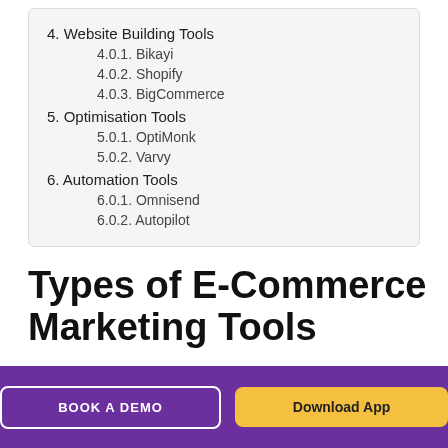4. Website Building Tools
4.0.1. Bikayi
4.0.2. Shopify
4.0.3. BigCommerce
5. Optimisation Tools
5.0.1. OptiMonk
5.0.2. Varvy
6. Automation Tools
6.0.1. Omnisend
6.0.2. Autopilot
Types of E-Commerce Marketing Tools
BOOK A DEMO
Download App